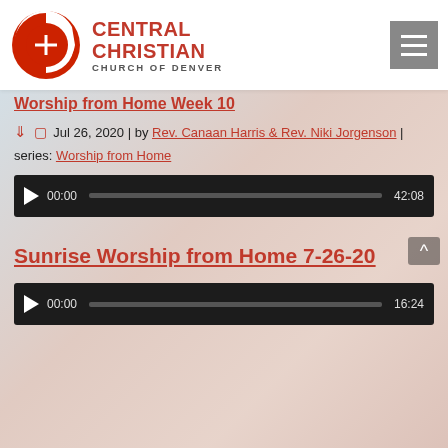[Figure (logo): Central Christian Church of Denver logo with red C and cross, and hamburger menu icon]
Worship from Home Week 10
Jul 26, 2020 | by Rev. Canaan Harris & Rev. Niki Jorgenson | series: Worship from Home
[Figure (screenshot): Audio player showing 00:00 / 42:08]
Sunrise Worship from Home 7-26-20
Jul 26, 2020 | by Rev. Canaan Harris | series: Sunrise service
[Figure (screenshot): Audio player showing 00:00 / 16:24]